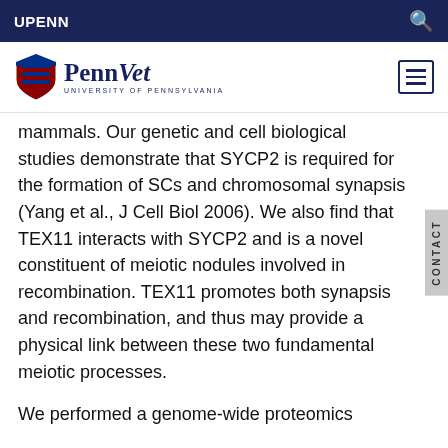UPENN
[Figure (logo): PennVet University of Pennsylvania logo with shield and hamburger menu icon]
mammals. Our genetic and cell biological studies demonstrate that SYCP2 is required for the formation of SCs and chromosomal synapsis (Yang et al., J Cell Biol 2006). We also find that TEX11 interacts with SYCP2 and is a novel constituent of meiotic nodules involved in recombination. TEX11 promotes both synapsis and recombination, and thus may provide a physical link between these two fundamental meiotic processes.
We performed a genome-wide proteomics